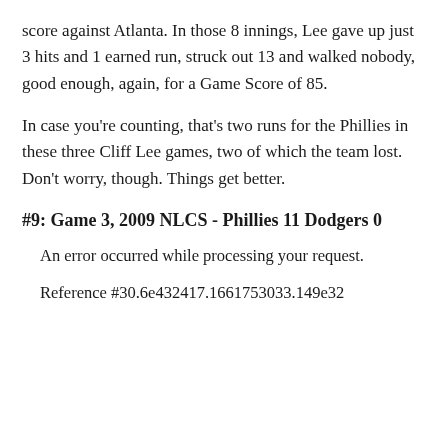score against Atlanta. In those 8 innings, Lee gave up just 3 hits and 1 earned run, struck out 13 and walked nobody, good enough, again, for a Game Score of 85.
In case you're counting, that's two runs for the Phillies in these three Cliff Lee games, two of which the team lost. Don't worry, though. Things get better.
#9: Game 3, 2009 NLCS - Phillies 11 Dodgers 0
An error occurred while processing your request.
Reference #30.6e432417.1661753033.149e32